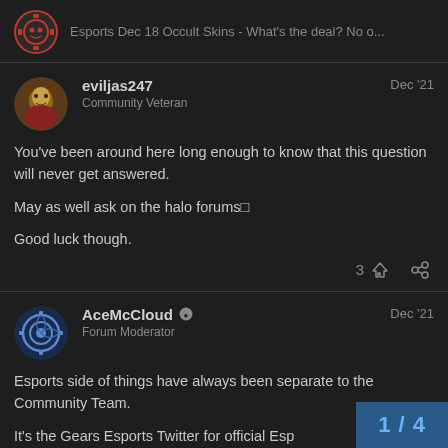Esports Dec 18 Occult Skins - What's the deal? No o...
eviljas247
Community Veteran
Dec '21

You've been around here long enough to know that this question will never get answered.

May as well ask on the halo forums

Good luck though.
AceMcCloud
Forum Moderator
Dec '21

Esports side of things have always been separate to the Community Team.

It's the Gears Esports Twitter for official Esp...
1 / 4